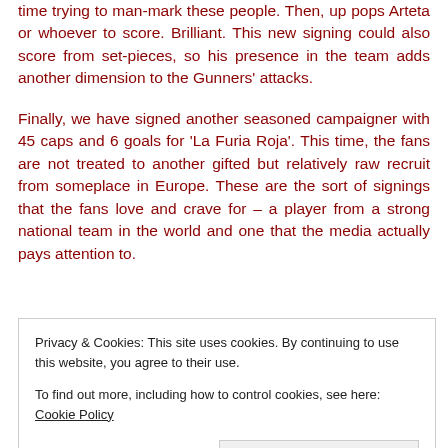time trying to man-mark these people. Then, up pops Arteta or whoever to score. Brilliant. This new signing could also score from set-pieces, so his presence in the team adds another dimension to the Gunners' attacks.
Finally, we have signed another seasoned campaigner with 45 caps and 6 goals for 'La Furia Roja'. This time, the fans are not treated to another gifted but relatively raw recruit from someplace in Europe. These are the sort of signings that the fans love and crave for – a player from a strong national team in the world and one that the media actually pays attention to.
Privacy & Cookies: This site uses cookies. By continuing to use this website, you agree to their use.
To find out more, including how to control cookies, see here: Cookie Policy
He lacks the height, though, which would draw principal